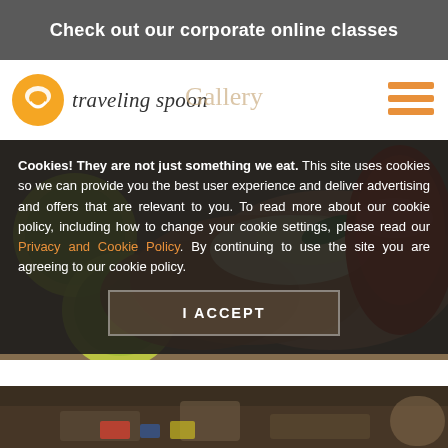Check out our corporate online classes
[Figure (logo): Traveling Spoon logo with orange circle and spoon icon, and cursive text 'traveling spoon']
Gallery
[Figure (photo): Overhead photo of Mexican-style tacos/quesadillas with lime, green peppers, melted cheese, and a bowl of red salsa/tomato sauce on a wooden surface]
Cookies! They are not just something we eat. This site uses cookies so we can provide you the best user experience and deliver advertising and offers that are relevant to you. To read more about our cookie policy, including how to change your cookie settings, please read our Privacy and Cookie Policy. By continuing to use the site you are agreeing to our cookie policy.
I ACCEPT
[Figure (photo): Partial view of food/kitchen scene at the bottom of the page]